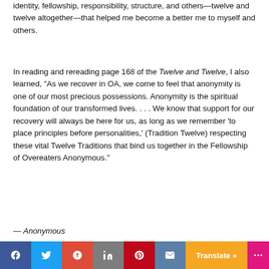identity, fellowship, responsibility, structure, and others—twelve and  twelve altogether—that helped me become a better me to myself and others.
In reading and rereading page 168 of the Twelve and Twelve, I also learned, “As we recover in OA, we come to feel that anonymity is one of our most precious possessions. Anonymity is the spiritual foundation of our transformed lives. . . . We know that support for our recovery will always be here for us, as long as we remember ‘to place principles before personalities,’ (Tradition Twelve) respecting these vital Twelve Traditions that bind us together in the Fellowship of Overeaters Anonymous.”
— Anonymous
[Figure (infographic): Social media sharing bar with icons for Facebook, Twitter, Google+, LinkedIn, Pinterest, Email, a Translate button, and a More button]